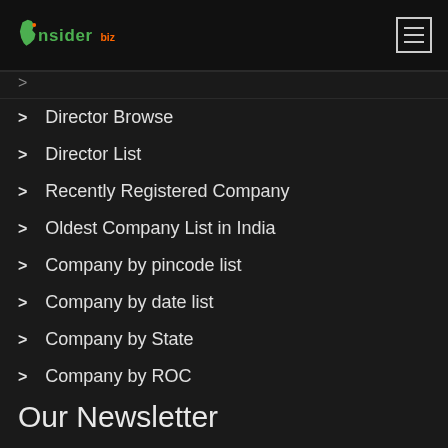InsiderBiz
Director Browse
Director List
Recently Registered Company
Oldest Company List in India
Company by pincode list
Company by date list
Company by State
Company by ROC
Our Newsletter